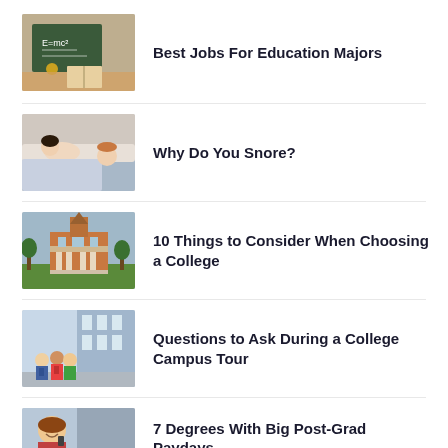Best Jobs For Education Majors
Why Do You Snore?
10 Things to Consider When Choosing a College
Questions to Ask During a College Campus Tour
7 Degrees With Big Post-Grad Paydays